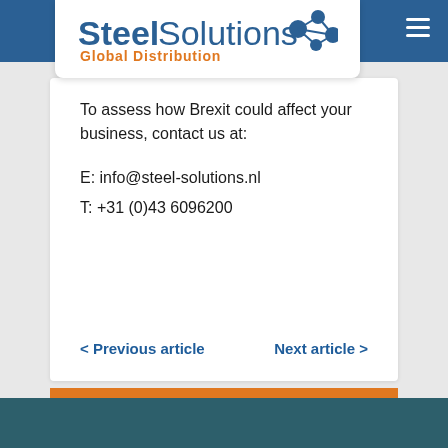[Figure (logo): Steel Solutions Global Distribution logo with blue text and orange subtitle, accompanied by a blue network/molecule icon]
To assess how Brexit could affect your business, contact us at:

E: info@steel-solutions.nl
T: +31 (0)43 6096200
< Previous article    Next article >